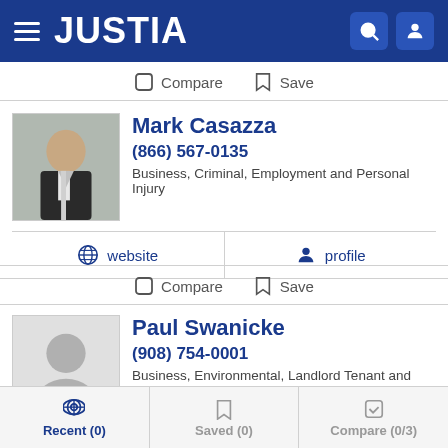JUSTIA
Compare  Save
Mark Casazza
(866) 567-0135
Business, Criminal, Employment and Personal Injury
website  profile
Compare  Save
Paul Swanicke
(908) 754-0001
Business, Environmental, Landlord Tenant and Real Estate
Recent (0)  Saved (0)  Compare (0/3)